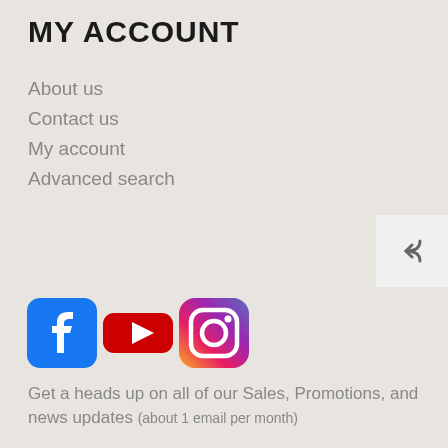MY ACCOUNT
About us
Contact us
My account
Advanced search
[Figure (logo): Facebook, YouTube, and Instagram social media icons]
Get a heads up on all of our Sales, Promotions, and news updates (about 1 email per month)
[Figure (other): Email subscription input field and SUBSCRIBE button]
[Figure (other): Footer with payment card logos: American Express, Discover, Mastercard, Visa on dark background]